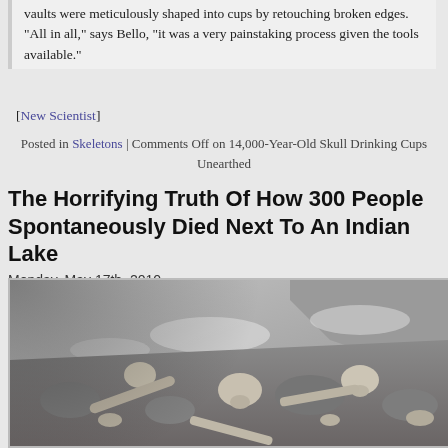vaults were meticulously shaped into cups by retouching broken edges. "All in all," says Bello, "it was a very painstaking process given the tools available."
[New Scientist]
Posted in Skeletons | Comments Off on 14,000-Year-Old Skull Drinking Cups Unearthed
The Horrifying Truth Of How 300 People Spontaneously Died Next To An Indian Lake
Monday, May 17th, 2010
[Figure (photo): Photograph of skeletal remains including skulls and bones scattered on a rocky, snowy mountain landscape]